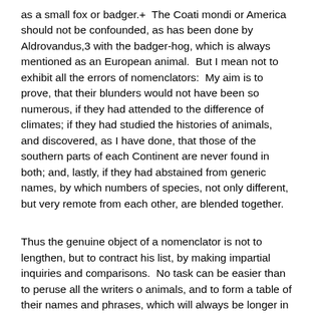as a small fox or badger.+  The Coati mondi or America should not be confounded, as has been done by Aldrovandus,3 with the badger-hog, which is always mentioned as an European animal.  But I mean not to exhibit all the errors of nomenclators:  My aim is to prove, that their blunders would not have been so numerous, if they had attended to the difference of climates; if they had studied the histories of animals, and discovered, as I have done, that those of the southern parts of each Continent are never found in both; and, lastly, if they had abstained from generic names, by which numbers of species, not only different, but very remote from each other, are blended together.
Thus the genuine object of a nomenclator is not to lengthen, but to contract his list, by making impartial inquiries and comparisons.  No task can be easier than to peruse all the writers o animals, and to form a table of their names and phrases, which will always be longer in proportion as the labour bestowed in vestigation [sic] is less:  But nothing is more difficult than to ex- [145] amine and compare animals with that judgment and discernment, which are necessary to